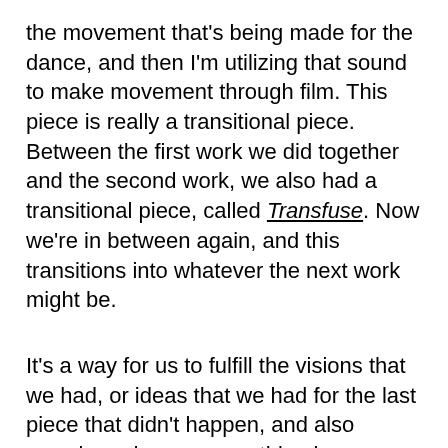the movement that's being made for the dance, and then I'm utilizing that sound to make movement through film. This piece is really a transitional piece. Between the first work we did together and the second work, we also had a transitional piece, called Transfuse. Now we're in between again, and this transitions into whatever the next work might be.
It's a way for us to fulfill the visions that we had, or ideas that we had for the last piece that didn't happen, and also recycle and reuse something in a new way. It's always different. This whole iteration here, it may be the same film and it may be the same sound, but it's put together and image-mapped in a completely different way so that it becomes a whole new installation.
Because the concept was around a place of refuge, of resting, of having space to grieve and condole and [text continues]